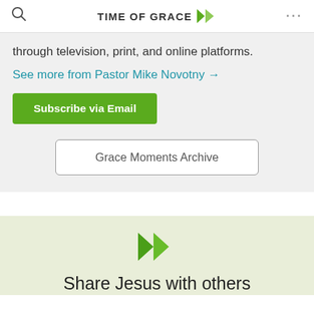TIME OF GRACE
through television, print, and online platforms.
See more from Pastor Mike Novotny →
Subscribe via Email
Grace Moments Archive
[Figure (logo): Time of Grace double play-button logo in green]
Share Jesus with others